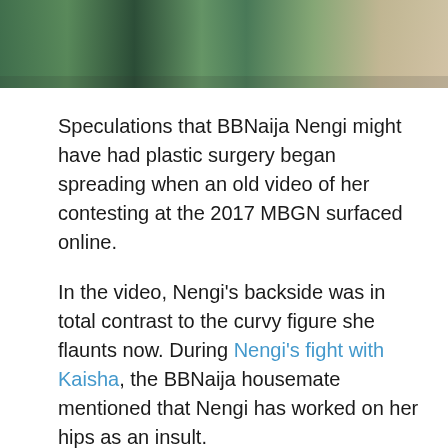[Figure (photo): Partial photo of a person wearing a green sequined/sparkly outfit, cropped at the top of the page]
Speculations that BBNaija Nengi might have had plastic surgery began spreading when an old video of her contesting at the 2017 MBGN surfaced online.
In the video, Nengi's backside was in total contrast to the curvy figure she flaunts now. During Nengi's fight with Kaisha, the BBNaija housemate mentioned that Nengi has worked on her hips as an insult.